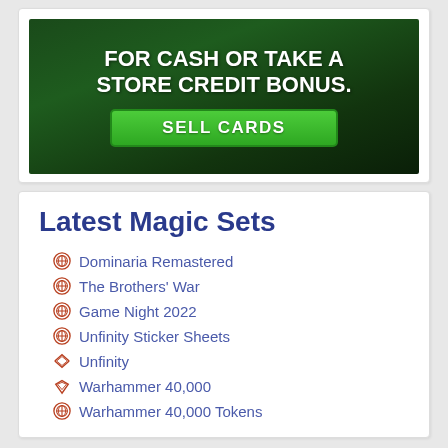[Figure (illustration): Advertisement banner with dark green forest background. White bold text reads 'FOR CASH OR TAKE A STORE CREDIT BONUS.' with a green 'SELL CARDS' button below.]
Latest Magic Sets
Dominaria Remastered
The Brothers' War
Game Night 2022
Unfinity Sticker Sheets
Unfinity
Warhammer 40,000
Warhammer 40,000 Tokens